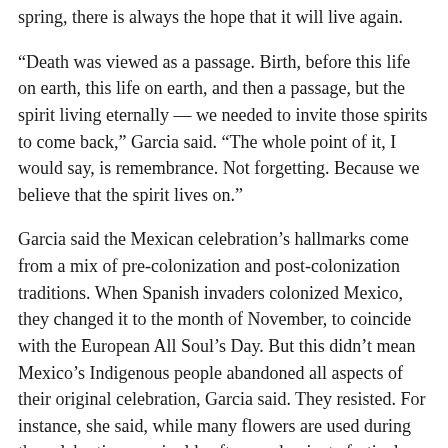spring, there is always the hope that it will live again.
“Death was viewed as a passage. Birth, before this life on earth, this life on earth, and then a passage, but the spirit living eternally — we needed to invite those spirits to come back,” Garcia said. “The whole point of it, I would say, is remembrance. Not forgetting. Because we believe that the spirit lives on.”
Garcia said the Mexican celebration’s hallmarks come from a mix of pre-colonization and post-colonization traditions. When Spanish invaders colonized Mexico, they changed it to the month of November, to coincide with the European All Soul’s Day. But this didn’t mean Mexico’s Indigenous people abandoned all aspects of their original celebration, Garcia said. They resisted. For instance, she said, while many flowers are used during the celebration, marigolds often predominate festival setups and are not associated with any Catholic tradition.